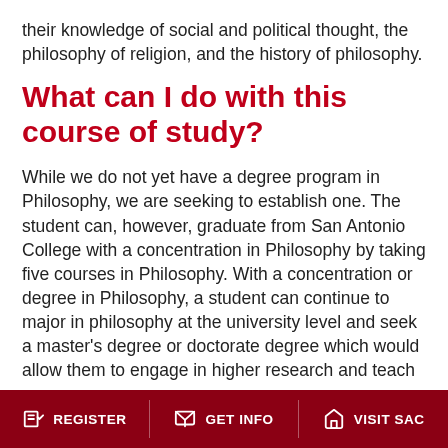their knowledge of social and political thought, the philosophy of religion, and the history of philosophy.
What can I do with this course of study?
While we do not yet have a degree program in Philosophy, we are seeking to establish one. The student can, however, graduate from San Antonio College with a concentration in Philosophy by taking five courses in Philosophy. With a concentration or degree in Philosophy, a student can continue to major in philosophy at the university level and seek a master's degree or doctorate degree which would allow them to engage in higher research and teach at the collegiate level. A degree in philosophy is very helpful in many fields because of its emphasis on the
REGISTER  GET INFO  VISIT SAC